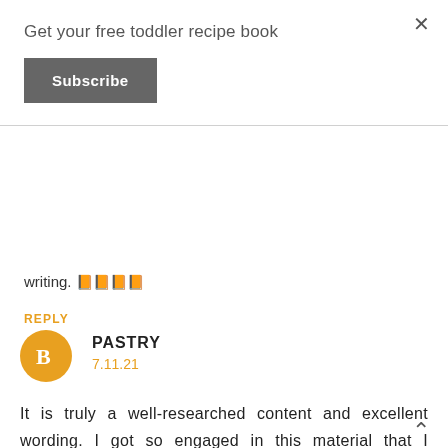Get your free toddler recipe book
Subscribe
×
writing. 🧡🧡🧡🧡
REPLY
PASTRY
7.11.21
It is truly a well-researched content and excellent wording. I got so engaged in this material that I couldn't wait reading. I am impressed with your work and skill. Thanks. 🧡🧡